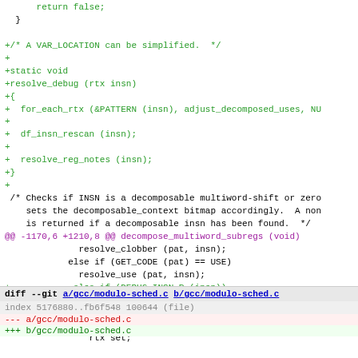Code diff showing additions to GCC source files including resolve_debug function and decompose_multiword_subregs changes, followed by diff header for gcc/modulo-sched.c
[Figure (screenshot): Source code diff view showing green added lines for resolve_debug function, purple hunk header, and black context lines]